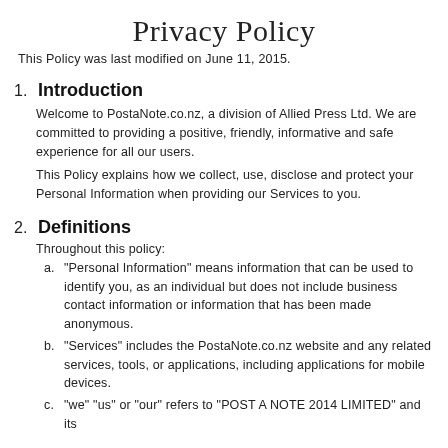Privacy Policy
This Policy was last modified on June 11, 2015.
1. Introduction
Welcome to PostaNote.co.nz, a division of Allied Press Ltd. We are committed to providing a positive, friendly, informative and safe experience for all our users.
This Policy explains how we collect, use, disclose and protect your Personal Information when providing our Services to you.
2. Definitions
Throughout this policy:
"Personal Information" means information that can be used to identify you, as an individual but does not include business contact information or information that has been made anonymous.
“Services” includes the PostaNote.co.nz website and any related services, tools, or applications, including applications for mobile devices.
c. “we” “us” or “our” refers to “POST A NOTE 2014 LIMITED” and its